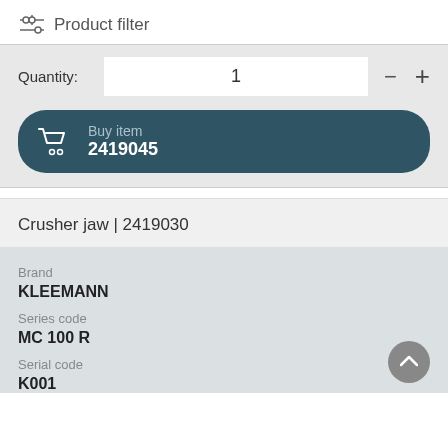Product filter
Quantity: 1
Buy item 2419045
Crusher jaw | 2419030
Brand
KLEEMANN
Series code
MC 100 R
Serial code
K001